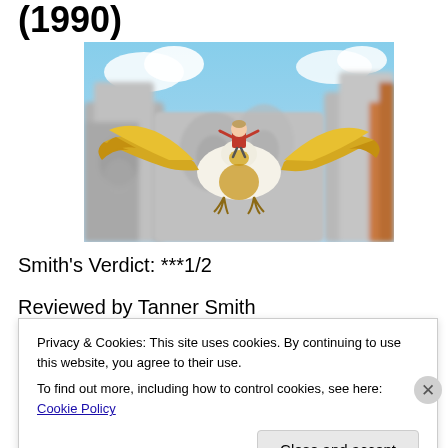(1990)
[Figure (illustration): Animated scene of a character riding a large golden/white bird in flight against a blue sky and rocky cliff background]
Smith's Verdict: ***1/2
Reviewed by Tanner Smith
Privacy & Cookies: This site uses cookies. By continuing to use this website, you agree to their use.
To find out more, including how to control cookies, see here: Cookie Policy
Close and accept